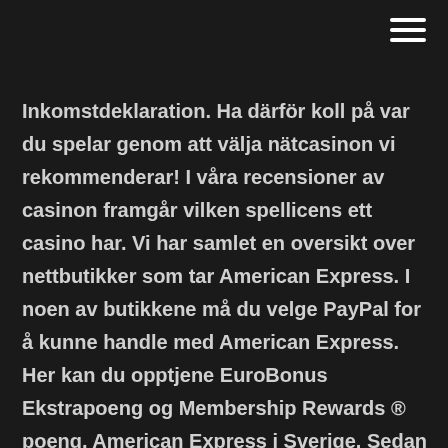Inkomstdeklaration. Ha därför koll på var du spelar genom att välja nätcasinon vi rekommenderar! I våra recensioner av casinon framgår vilken spellicens ett casino har. Vi har samlet en oversikt over nettbutikker som tar American Express. I noen av butikkene må du velge PayPal for å kunne handle med American Express. Her kan du opptjene EuroBonus Ekstrapoeng og Membership Rewards ® poeng. American Express i Sverige. Sedan Amex etablerades i Sverige på 1970-talet så har det blivit det mest populära kortet efter giganterna Visa och Mastercard.Långt in på 2000-talet så var det fortfarande ganska få butiker och affärer som accepterade American Express i sina betalterminaler men nu på senare tid så fungerar Amex till 90% av gångerna. Shop Target online and in-store for